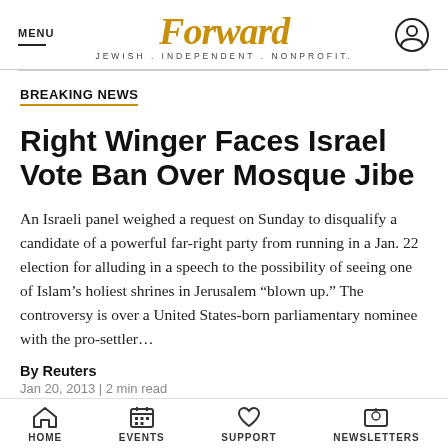MENU | Forward JEWISH . INDEPENDENT . NONPROFIT.
BREAKING NEWS
Right Winger Faces Israel Vote Ban Over Mosque Jibe
An Israeli panel weighed a request on Sunday to disqualify a candidate of a powerful far-right party from running in a Jan. 22 election for alluding in a speech to the possibility of seeing one of Islam's holiest shrines in Jerusalem "blown up." The controversy is over a United States-born parliamentary nominee with the pro-settler...
By Reuters
Jan 20, 2013 | 2 min read
HOME   EVENTS   SUPPORT   NEWSLETTERS